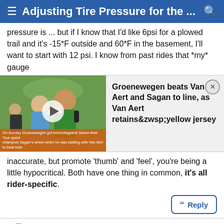≡ Adjusting Tire Pressure for the ...  🔍
pressure is ... but if I know that I'd like 6psi for a plowed trail and it's -15*F outside and 60*F in the basement, I'll want to start with 12 psi. I know from past rides that *my* gauge
[Figure (screenshot): Video thumbnail showing people embracing outdoors, with a play button overlay and orange caption bar. To the right: 'Groenewegen beats Van Aert and Sagan to line, as Van Aert retains yellow jersey'. Close X button in top-right corner.]
inaccurate, but promote 'thumb' and 'feel', you're being a little hypocritical. Both have one thing in common, it's all rider-specific.
Reply
#17
prj71 , 02-11-21 02:08 PM
Senior Member